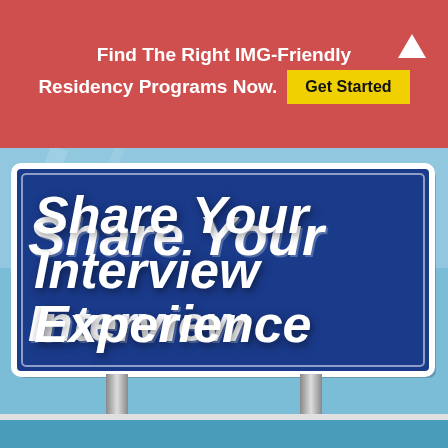Find The Right IMG-Friendly Residency Programs Now. Get Started
[Figure (photo): A highway road sign on a blue sky background with bold italic white text reading 'Share Your Interview Experience' on a dark blue rectangular board mounted on two grey poles.]